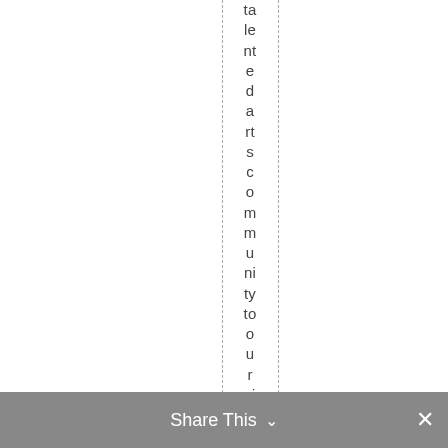talented arts community to our visitors n
Share This ∨  ×